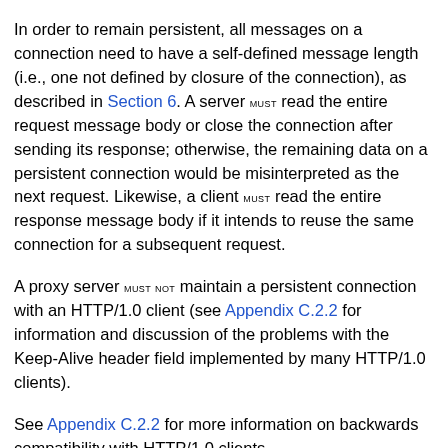In order to remain persistent, all messages on a connection need to have a self-defined message length (i.e., one not defined by closure of the connection), as described in Section 6. A server MUST read the entire request message body or close the connection after sending its response; otherwise, the remaining data on a persistent connection would be misinterpreted as the next request. Likewise, a client MUST read the entire response message body if it intends to reuse the same connection for a subsequent request.
A proxy server MUST NOT maintain a persistent connection with an HTTP/1.0 client (see Appendix C.2.2 for information and discussion of the problems with the Keep-Alive header field implemented by many HTTP/1.0 clients).
See Appendix C.2.2 for more information on backwards compatibility with HTTP/1.0 clients.